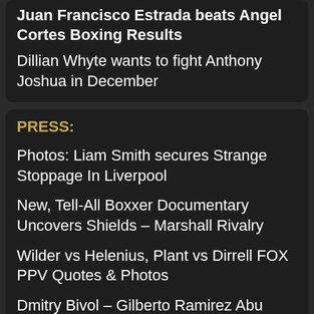Juan Francisco Estrada beats Angel Cortes Boxing Results
Dillian Whyte wants to fight Anthony Joshua in December
PRESS:
Photos: Liam Smith secures Strange Stoppage In Liverpool
New, Tell-All Boxxer Documentary Uncovers Shields – Marshall Rivalry
Wilder vs Helenius, Plant vs Dirrell FOX PPV Quotes & Photos
Dmitry Bivol – Gilberto Ramirez Abu Dhabi Quotes